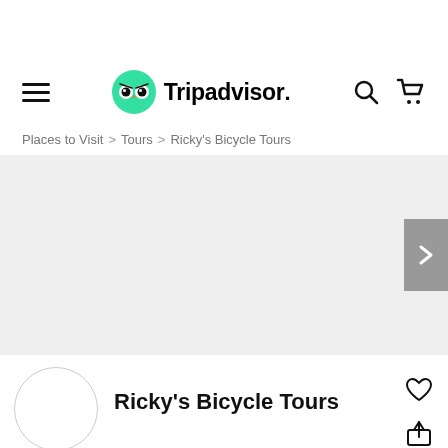Tripadvisor
Places to Visit > Tours > Ricky's Bicycle Tours
[Figure (photo): Empty light grey image carousel area with a grey right-arrow navigation button on the right edge]
[Figure (logo): Round white logo circle for Ricky's Bicycle Tours]
Ricky's Bicycle Tours